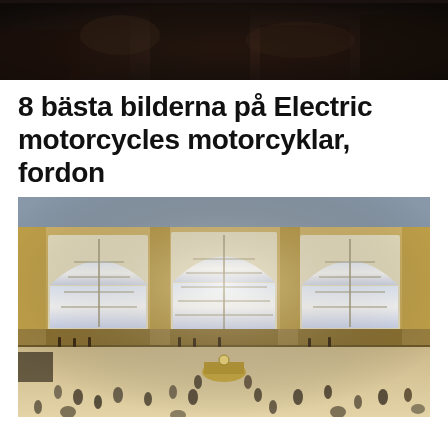[Figure (photo): Dark atmospheric forest or mountainside scene, dark brown and deep tones at the top of the page]
8 bästa bilderna på Electric motorcycles motorcyklar, fordon
[Figure (photo): Grand Central Terminal interior, large arched windows with light streaming through, crowds of people moving across the main concourse, golden stone architecture, central information booth with clock visible]